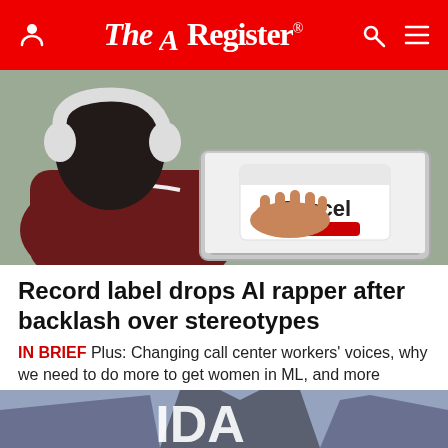The Register
[Figure (photo): Person with white headphones typing on a laptop; the laptop screen shows a dialog with 'Cancel' button and a red button. Bird's eye view, dark clothing, dark hair.]
Record label drops AI rapper after backlash over stereotypes
IN BRIEF Plus: Changing call center workers' voices, why we need to do more to get women in ML, and more
AI + ML   17 hrs | 48
[Figure (photo): Bottom of page: partial view of a building exterior with large white letters visible, against a cloudy sky.]